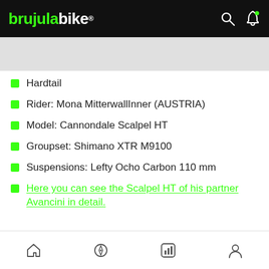brujulabike
Hardtail
Rider: Mona MitterwallnnerInner (AUSTRIA)
Model: Cannondale Scalpel HT
Groupset: Shimano XTR M9100
Suspensions: Lefty Ocho Carbon 110 mm
Here you can see the Scalpel HT of his partner Avancini in detail.
Home | Compass | Stats | Profile